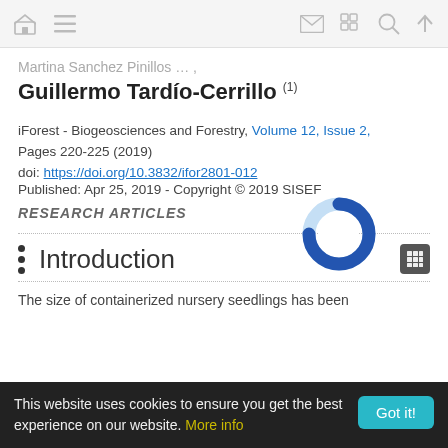Navigation bar with home, menu, mail, grid, search, up icons
Martina Sanchez Pinillos …,
Guillermo Tardío-Cerrillo (1)
iForest - Biogeosciences and Forestry, Volume 12, Issue 2, Pages 220-225 (2019)
doi: https://doi.org/10.3832/ifor2801-012
Published: Apr 25, 2019 - Copyright © 2019 SISEF
RESEARCH ARTICLES
[Figure (other): Circular loading spinner, partially filled in dark blue, on light blue circle background]
Introduction
The size of containerized nursery seedlings has been